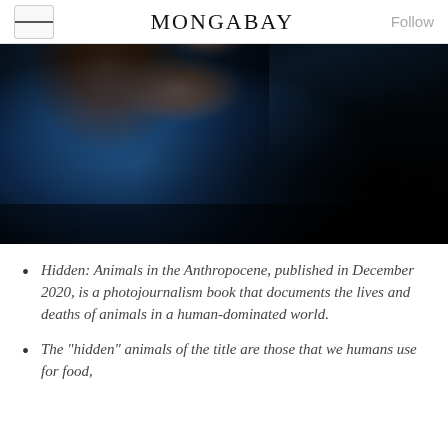MONGABAY
[Figure (photo): Close-up dark photograph of an animal, likely a primate or sloth, showing fur in dark blue tones with a brownish head/face area against a near-black background.]
Hidden: Animals in the Anthropocene, published in December 2020, is a photojournalism book that documents the lives and deaths of animals in a human-dominated world.
The "hidden" animals of the title are those that we humans use for food,